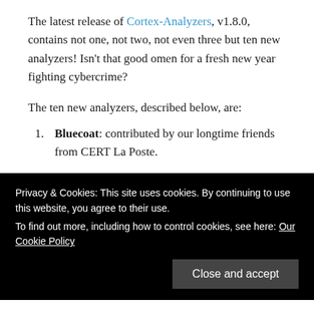The latest release of Cortex-Analyzers, v1.8.0, contains not one, not two, not even three but ten new analyzers! Isn't that good omen for a fresh new year fighting cybercrime?
The ten new analyzers, described below, are:
Bluecoat: contributed by our longtime friends from CERT La Poste.
C1fApp: submitted by Dimitris Lambrou.
Censys.io: developed by Nils Kuhnert, now a full member of TheHive Project, on behalf of CERT-Bund
Privacy & Cookies: This site uses cookies. By continuing to use this website, you agree to their use. To find out more, including how to control cookies, see here: Our Cookie Policy
Onyphe: contributed by Pierre Baudry and Adrien